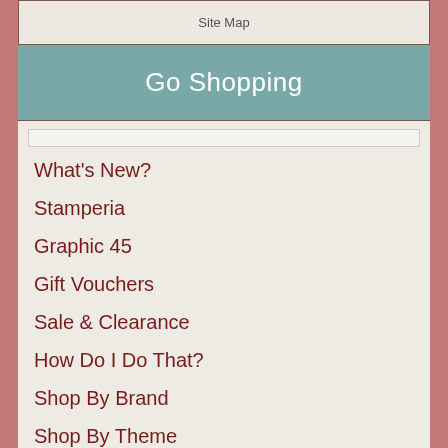Site Map
Go Shopping
What's New?
Stamperia
Graphic 45
Gift Vouchers
Sale & Clearance
How Do I Do That?
Shop By Brand
Shop By Theme
Die-Cutting
Digital Downloads
Paper & Cardstock
Embellishments
Stamps